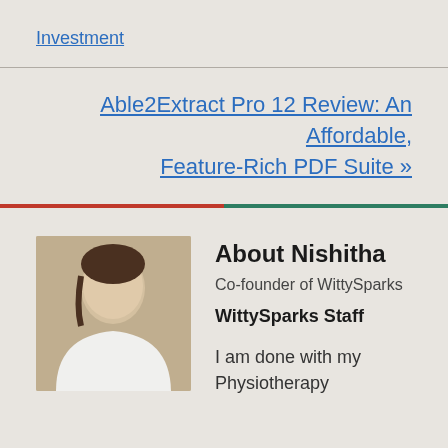Investment
Able2Extract Pro 12 Review: An Affordable, Feature-Rich PDF Suite »
About Nishitha
Co-founder of WittySparks
WittySparks Staff
I am done with my Physiotherapy